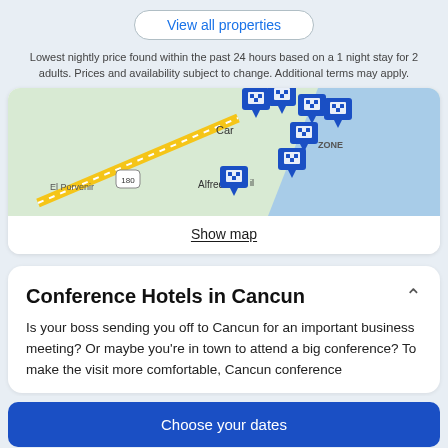View all properties
Lowest nightly price found within the past 24 hours based on a 1 night stay for 2 adults. Prices and availability subject to change. Additional terms may apply.
[Figure (map): Map showing Cancun hotel zone area with blue hotel pin markers clustered near Cancun hotel zone, with labels for Cancun, Alfredo, El Porvenir, and road 180 visible.]
Show map
Conference Hotels in Cancun
Is your boss sending you off to Cancun for an important business meeting? Or maybe you're in town to attend a big conference? To make the visit more comfortable, Cancun conference